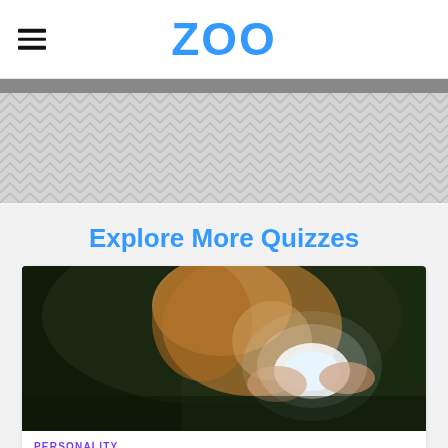ZOO
[Figure (other): Gray advertisement banner with diagonal chevron/herringbone pattern background]
Explore More Quizzes
[Figure (photo): Woman with curly blonde hair holding a glowing crystal up to her face against a dark green background]
PERSONALITY
What's Your Crystal Type?